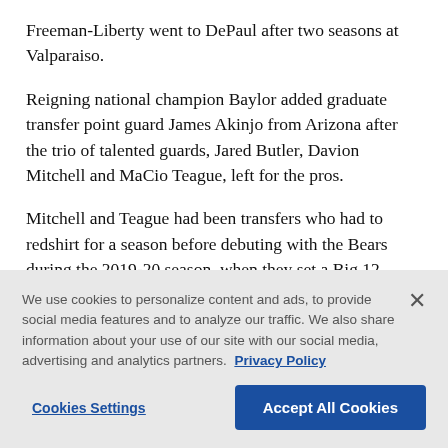Freeman-Liberty went to DePaul after two seasons at Valparaiso.
Reigning national champion Baylor added graduate transfer point guard James Akinjo from Arizona after the trio of talented guards, Jared Butler, Davion Mitchell and MaCio Teague, left for the pros.
Mitchell and Teague had been transfers who had to redshift for a season before debuting with the Bears during the 2019-20 season, when they set a Big 12
We use cookies to personalize content and ads, to provide social media features and to analyze our traffic. We also share information about your use of our site with our social media, advertising and analytics partners. Privacy Policy
Cookies Settings
Accept All Cookies